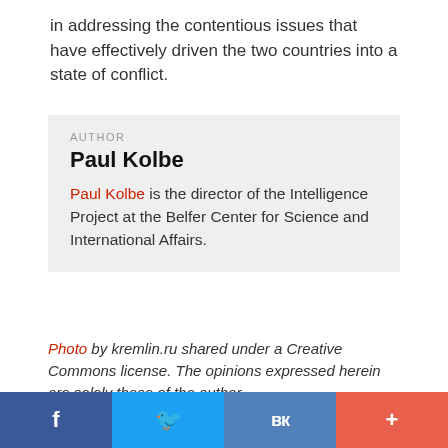in addressing the contentious issues that have effectively driven the two countries into a state of conflict.
AUTHOR
Paul Kolbe
Paul Kolbe is the director of the Intelligence Project at the Belfer Center for Science and International Affairs.
Photo by kremlin.ru shared under a Creative Commons license. The opinions expressed herein are solely those of the author.